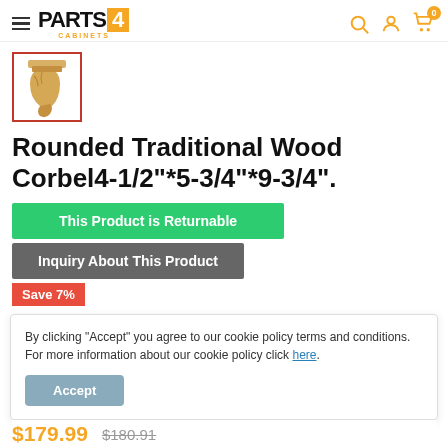PARTS4 CABINETS
[Figure (photo): Small thumbnail photo of a rounded traditional wood corbel, golden/honey wood color, with decorative scroll carving. Red border around the thumbnail.]
Rounded Traditional Wood Corbel4-1/2"*5-3/4"*9-3/4".
This Product is Returnable
Inquiry About This Product
Save 7%
By clicking "Accept" you agree to our cookie policy terms and conditions. For more information about our cookie policy click here.
Accept
$179.99  $180.91